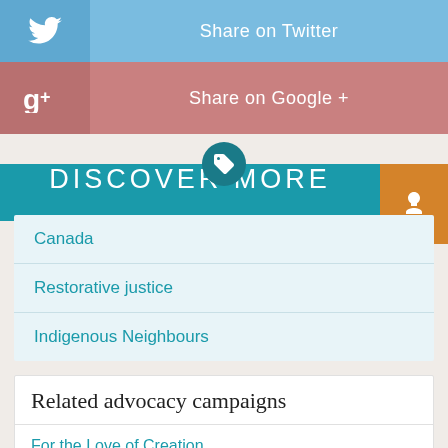[Figure (infographic): Twitter share button bar with bird icon on left and 'Share on Twitter' text]
[Figure (infographic): Google+ share button bar with G+ icon on left and 'Share on Google +' text]
DISCOVER MORE
Canada
Restorative justice
Indigenous Neighbours
Related advocacy campaigns
For the Love of Creation
Accountability: Canada, Palestine and Israel